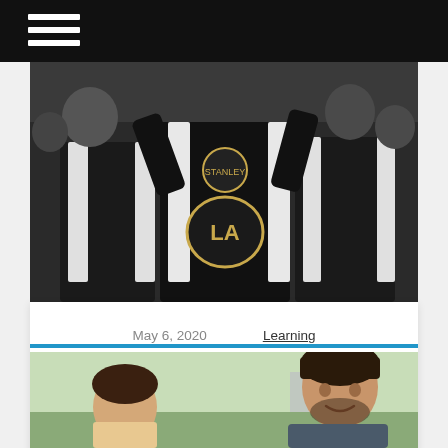[Figure (photo): Hockey players in LA Kings black and white jerseys celebrating, viewed from behind, raising arms]
May 6, 2020    Learning
27: Dustin Penner – Conspiracy Theorist – 2-Time NHL Champ
[Figure (photo): Man with dark hair smiling outdoors, partial view]